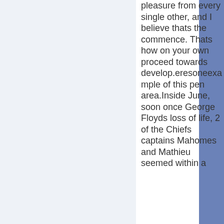pleasure from every single other, and I believe thats the commence. Thats how on your own proceed towards develop.eresoneexample of this pen area.Inside June, soon once George Floyds loss of life, 2 of the Chiefs captains Mahomes and Mathieu seemed within a